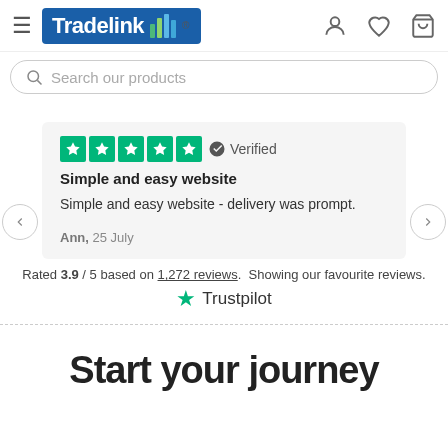[Figure (logo): Tradelink logo with navigation icons (hamburger menu, user, heart, cart) and search bar]
★★★★★ ✔ Verified
Simple and easy website
Simple and easy website - delivery was prompt.
Ann, 25 July
Rated 3.9 / 5 based on 1,272 reviews. Showing our favourite reviews.
[Figure (logo): Trustpilot star logo and wordmark]
Start your journey